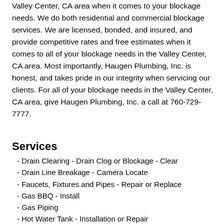Valley Center, CA area when it comes to your blockage needs. We do both residential and commercial blockage services. We are licensed, bonded, and insured, and provide competitive rates and free estimates when it comes to all of your blockage needs in the Valley Center, CA area. Most importantly, Haugen Plumbing, Inc. is honest, and takes pride in our integrity when servicing our clients. For all of your blockage needs in the Valley Center, CA area, give Haugen Plumbing, Inc. a call at 760-729-7777.
Services
- Drain Clearing - Drain Clog or Blockage - Clear
- Drain Line Breakage - Camera Locate
- Faucets, Fixtures and Pipes - Repair or Replace
- Gas BBQ - Install
- Gas Piping
- Hot Water Tank - Installation or Repair
- Plumber - General Services